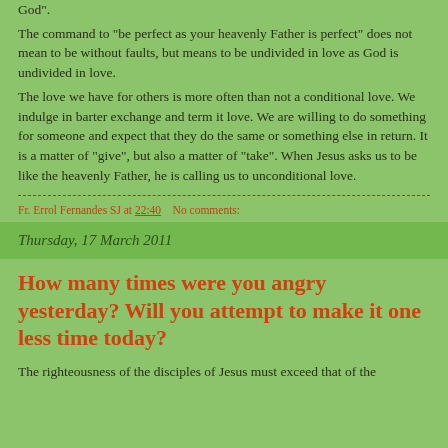God”.
The command to “be perfect as your heavenly Father is perfect” does not mean to be without faults, but means to be undivided in love as God is undivided in love.
The love we have for others is more often than not a conditional love. We indulge in barter exchange and term it love. We are willing to do something for someone and expect that they do the same or something else in return. It is a matter of “give”, but also a matter of “take”. When Jesus asks us to be like the heavenly Father, he is calling us to unconditional love.
Fr. Errol Fernandes SJ at 22:40    No comments:
Thursday, 17 March 2011
How many times were you angry yesterday? Will you attempt to make it one less time today?
The righteousness of the disciples of Jesus must exceed that of the